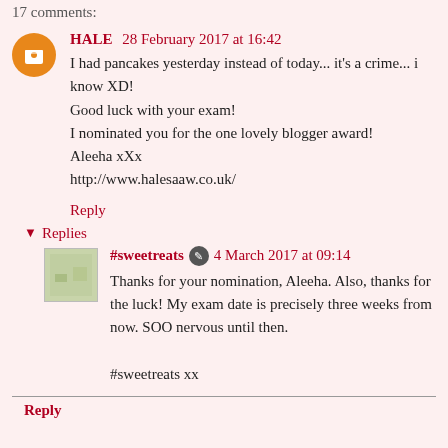17 comments:
HALE 28 February 2017 at 16:42
I had pancakes yesterday instead of today... it's a crime... i know XD!
Good luck with your exam!
I nominated you for the one lovely blogger award!
Aleeha xXx
http://www.halesaaw.co.uk/
Reply
▾ Replies
#sweetreats ✎ 4 March 2017 at 09:14
Thanks for your nomination, Aleeha. Also, thanks for the luck! My exam date is precisely three weeks from now. SOO nervous until then.

#sweetreats xx
Reply